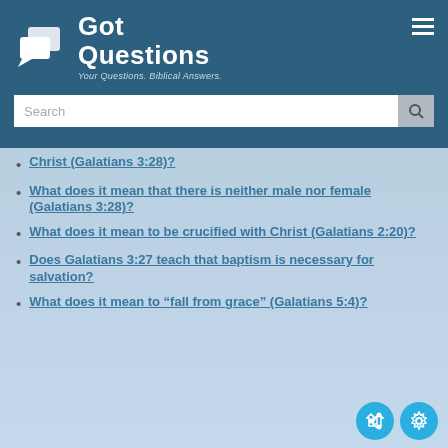Got Questions — Your Questions. Biblical Answers.
Christ (Galatians 3:28)?
What does it mean that there is neither male nor female (Galatians 3:28)?
What does it mean to be crucified with Christ (Galatians 2:20)?
Does Galatians 3:27 teach that baptism is necessary for salvation?
What does it mean to “fall from grace” (Galatians 5:4)?